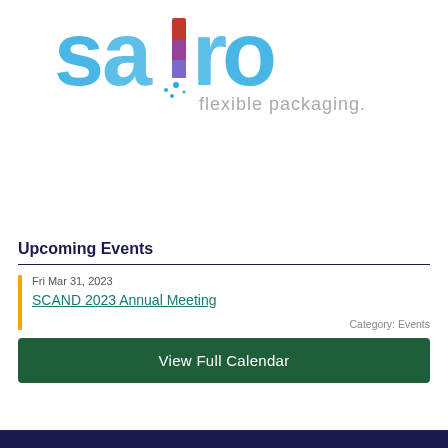[Figure (logo): SAPRO flexible packaging logo with colorful letters and tagline 'flexible packaging.']
Upcoming Events
Fri Mar 31, 2023
SCAND 2023 Annual Meeting
Category: Events
View Full Calendar